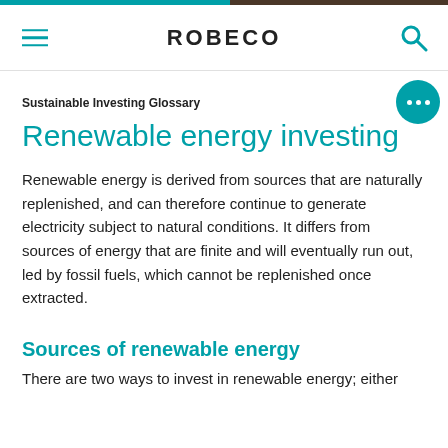ROBECO
Sustainable Investing Glossary
Renewable energy investing
Renewable energy is derived from sources that are naturally replenished, and can therefore continue to generate electricity subject to natural conditions. It differs from sources of energy that are finite and will eventually run out, led by fossil fuels, which cannot be replenished once extracted.
Sources of renewable energy
There are two ways to invest in renewable energy; either